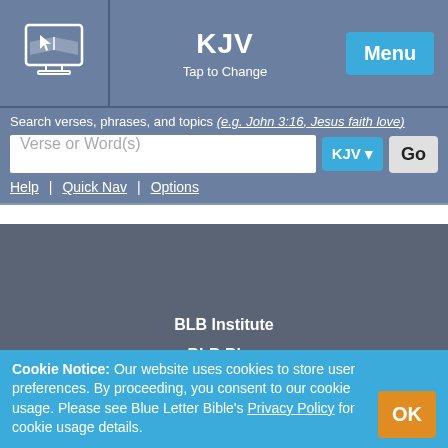KJV — Tap to Change | Menu
Search verses, phrases, and topics (e.g. John 3:16, Jesus faith love)
Verse or Word(s) [search input] KJV ▼ Go
Help | Quick Nav | Options
BLB Institute
BLB Blog
Newsletters
[Figure (illustration): Facebook and Instagram social media icons]
Cookie Notice: Our website uses cookies to store user preferences. By proceeding, you consent to our cookie usage. Please see Blue Letter Bible's Privacy Policy for cookie usage details.